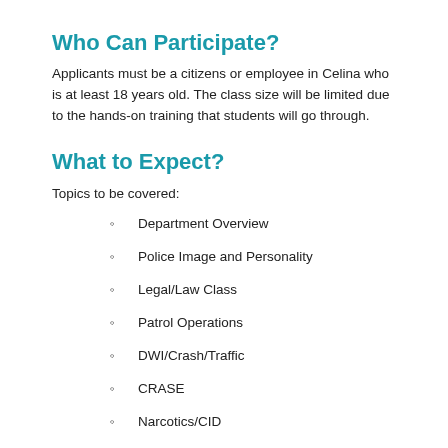Who Can Participate?
Applicants must be a citizens or employee in Celina who is at least 18 years old. The class size will be limited due to the hands-on training that students will go through.
What to Expect?
Topics to be covered:
Department Overview
Police Image and Personality
Legal/Law Class
Patrol Operations
DWI/Crash/Traffic
CRASE
Narcotics/CID
Jail Tour